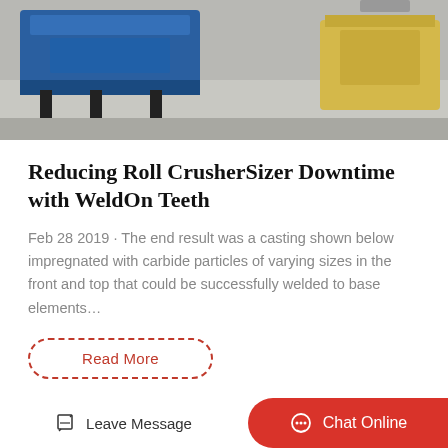[Figure (photo): Industrial machinery (crusher/sizer equipment) on a concrete floor, blue and yellow machines visible]
Reducing Roll CrusherSizer Downtime with WeldOn Teeth
Feb 28 2019 · The end result was a casting shown below impregnated with carbide particles of varying sizes in the front and top that could be successfully welded to base elements…
Read More
[Figure (photo): Exterior of a multi-story commercial or industrial building with large windows]
Leave Message
Chat Online